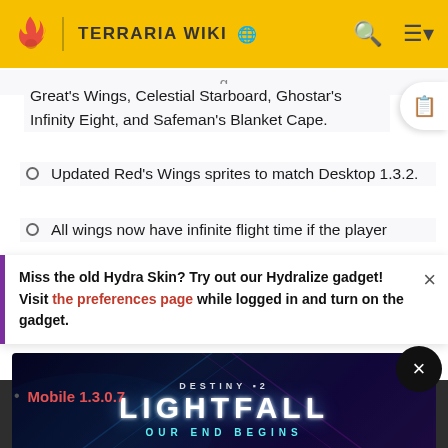TERRARIA WIKI
Great's Wings, Celestial Starboard, Ghostar's Infinity Eight, and Safeman's Blanket Cape.
Updated Red's Wings sprites to match Desktop 1.3.2.
All wings now have infinite flight time if the player
Miss the old Hydra Skin? Try out our Hydralize gadget! Visit the preferences page while logged in and turn on the gadget.
Mobile 1.3.0.7
[Figure (screenshot): Destiny 2 Lightfall advertisement banner with PRE-ORDER NOW button and Teen ESRB rating]
obtainable;